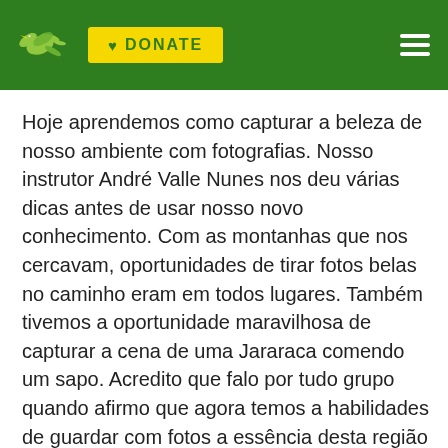DONATE
Hoje aprendemos como capturar a beleza de nosso ambiente com fotografias. Nosso instrutor André Valle Nunes nos deu várias dicas antes de usar nosso novo conhecimento. Com as montanhas que nos cercavam, oportunidades de tirar fotos belas no caminho eram em todos lugares. Também tivemos a oportunidade maravilhosa de capturar a cena de uma Jararaca comendo um sapo. Acredito que falo por tudo grupo quando afirmo que agora temos a habilidades de guardar com fotos a essência desta região e todo seu resplendor.